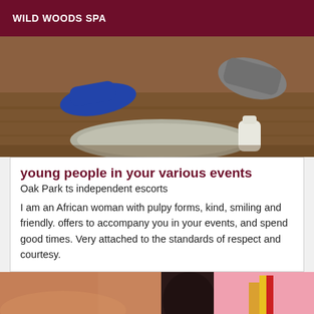WILD WOODS SPA
[Figure (photo): Photo showing feet, shoes and a rug on a wooden floor]
young people in your various events
Oak Park ts independent escorts
I am an African woman with pulpy forms, kind, smiling and friendly. offers to accompany you in your events, and spend good times. Very attached to the standards of respect and courtesy.
[Figure (photo): Partial close-up photo of a person]